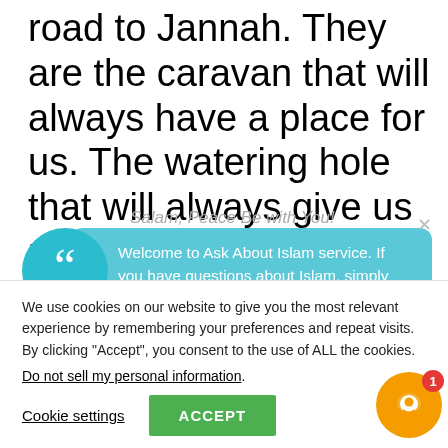road to Jannah. They are the caravan that will always have a place for us. The watering hole that will always give us pristine pure water.
[Figure (screenshot): Chat overlay popup from Ask About Islam service showing greeting 'Salam, Peace Be with You!' and message 'Welcome to Ask About Islam service. If you have questions about Islam, simply reply to this message, we are online and ready to help.' with teal chat bubble and quote icon]
We use cookies on our website to give you the most relevant experience by remembering your preferences and repeat visits. By clicking "Accept", you consent to the use of ALL the cookies.
Do not sell my personal information.
Cookie settings
ACCEPT